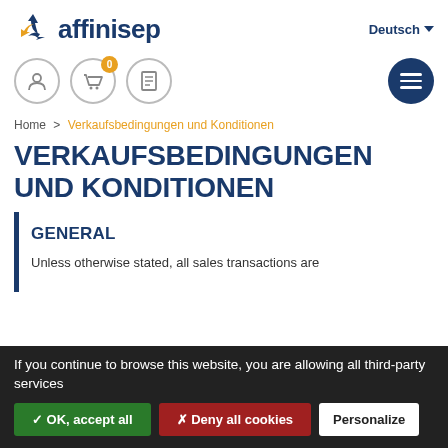[Figure (logo): Affinisep logo with blue recycling icon and dark blue text 'affinisep']
Deutsch
[Figure (screenshot): Navigation icons row: user icon circle, cart icon circle with orange badge '0', document icon circle, and dark blue hamburger menu circle on the right]
Home > Verkaufsbedingungen und Konditionen
VERKAUFSBEDINGUNGEN UND KONDITIONEN
GENERAL
Unless otherwise stated, all sales transactions are
If you continue to browse this website, you are allowing all third-party services
✓ OK, accept all
✗ Deny all cookies
Personalize